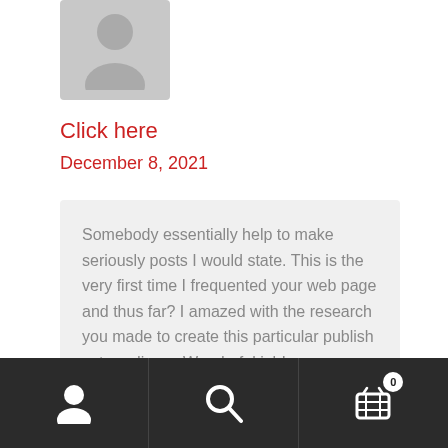[Figure (illustration): Gray placeholder avatar/person silhouette icon on gray background]
Click here
December 8, 2021
Somebody essentially help to make seriously posts I would state. This is the very first time I frequented your web page and thus far? I amazed with the research you made to create this particular publish extraordinary. Wonderful job!
[Figure (screenshot): Bottom navigation bar with user icon, search icon, and cart icon with badge showing 0]